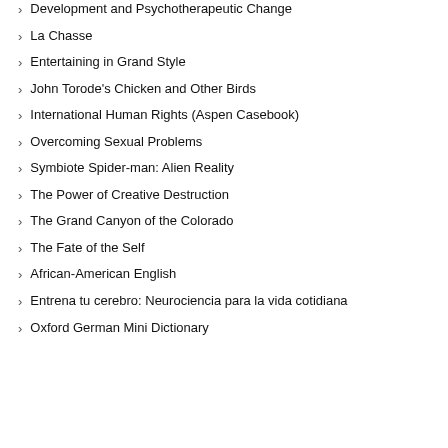Development and Psychotherapeutic Change
La Chasse
Entertaining in Grand Style
John Torode's Chicken and Other Birds
International Human Rights (Aspen Casebook)
Overcoming Sexual Problems
Symbiote Spider-man: Alien Reality
The Power of Creative Destruction
The Grand Canyon of the Colorado
The Fate of the Self
African-American English
Entrena tu cerebro: Neurociencia para la vida cotidiana
Oxford German Mini Dictionary